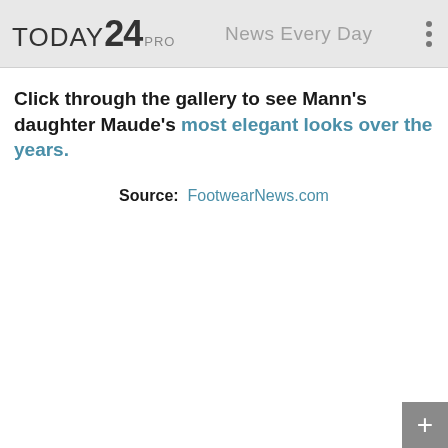TODAY24 PRO   News Every Day
Click through the gallery to see Mann's daughter Maude's most elegant looks over the years.
Source:  FootwearNews.com